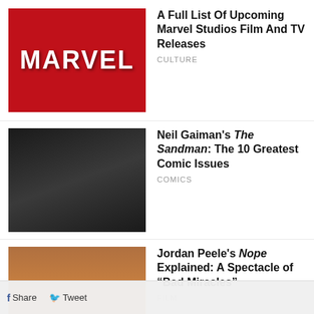[Figure (photo): Red background with white MARVEL text logo]
A Full List Of Upcoming Marvel Studios Film And TV Releases
CULTURE
[Figure (photo): Dark black and white image of Neil Gaiman's The Sandman character]
Neil Gaiman's The Sandman: The 10 Greatest Comic Issues
COMICS
[Figure (photo): Person in orange hoodie outdoors in Jordan Peele's Nope]
Jordan Peele's Nope Explained: A Spectacle of "Bad Miracles"
FILM
[Figure (photo): Person standing in field under blue sky, Outer Range western setting]
Amazon's Sci-Fi Western Outer Range is Too Much of a Good Thing
TV
[Figure (photo): Alex Jones documentary still image]
Alex's War, a Documentary Study of Alex Jones, Misses the Big Picture
Share
Tweet